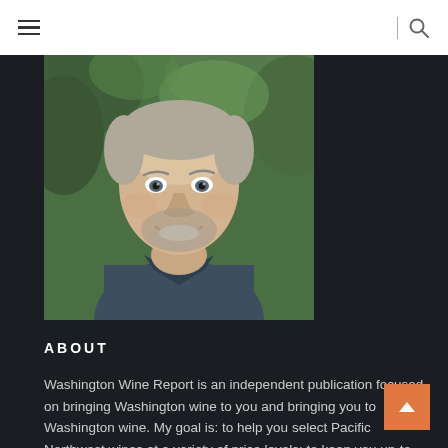Navigation bar with hamburger menu and search icon
[Figure (photo): Headshot of a middle-aged man with gray stubble, wearing a dark blue polo shirt, smiling outdoors in front of green foliage]
ABOUT
Washington Wine Report is an independent publication focused on bringing Washington wine to you and bringing you to Washington wine. My goal is: to help you select Pacific Northwest wines at a variety of price levels; to keep you up-to-date about